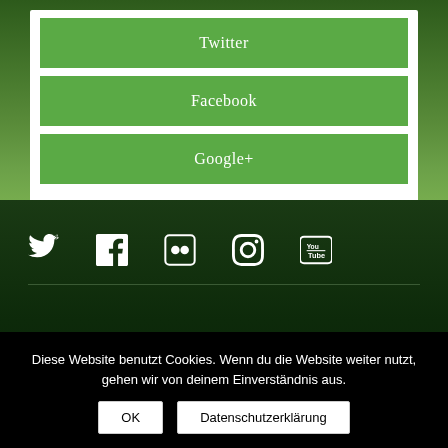Twitter
Facebook
Google+
[Figure (illustration): Social media icons row: Twitter bird, Facebook f, Flickr dots, Instagram camera, YouTube play button — white icons on dark green background]
Diese Website benutzt Cookies. Wenn du die Website weiter nutzt, gehen wir von deinem Einverständnis aus.
OK
Datenschutzerklärung